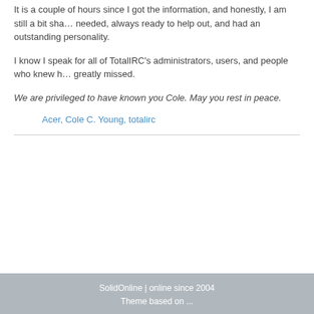It is a couple of hours since I got the information, and honestly, I am still a bit sha… needed, always ready to help out, and had an outstanding personality.
I know I speak for all of TotalIRC's administrators, users, and people who knew h… greatly missed.
We are privileged to have known you Cole. May you rest in peace.
Acer, Cole C. Young, totalirc
SolidOnline | online since 2004
Theme based on ...